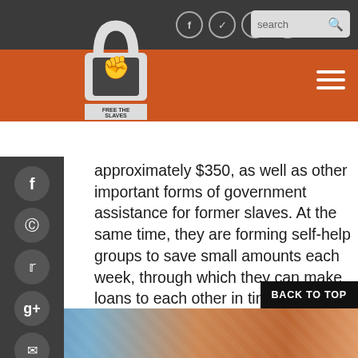[Figure (screenshot): Free the Slaves website header with logo (padlock with fist), social media icons (Facebook, Twitter, Vimeo, YouTube), search bar, orange banner, hamburger menu, and left sidebar with social sharing icons]
approximately $350, as well as other important forms of government assistance for former slaves. At the same time, they are forming self-help groups to save small amounts each week, through which they can make loans to each other in times of emergency or help each other invest in livestock or other income generating assets. In this village, members of the emerging self-help group will each save just 50 cents a week to start with.